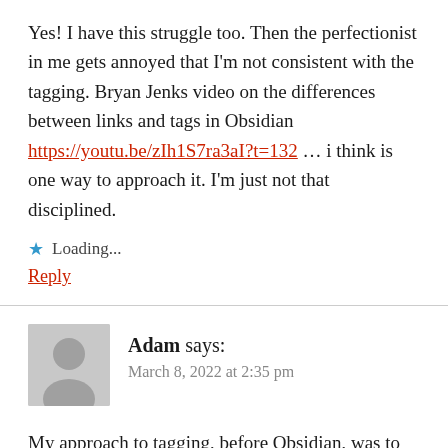Yes! I have this struggle too. Then the perfectionist in me gets annoyed that I'm not consistent with the tagging. Bryan Jenks video on the differences between links and tags in Obsidian https://youtu.be/zIh1S7ra3aI?t=132 … i think is one way to approach it. I'm just not that disciplined.
★ Loading...
Reply
Adam says:
March 8, 2022 at 2:35 pm
My approach to tagging, before Obsidian, was to always tag with What, Who, Where and When. This